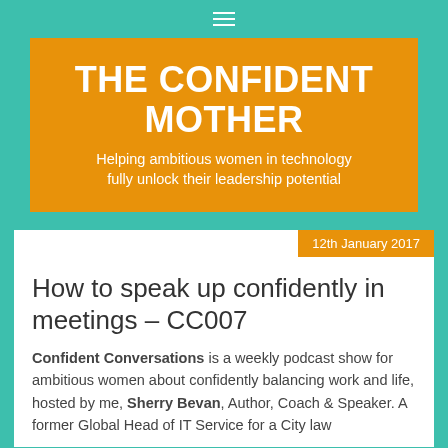≡
THE CONFIDENT MOTHER
Helping ambitious women in technology fully unlock their leadership potential
12th January 2017
How to speak up confidently in meetings – CC007
Confident Conversations is a weekly podcast show for ambitious women about confidently balancing work and life, hosted by me, Sherry Bevan, Author, Coach & Speaker. A former Global Head of IT Service for a City law